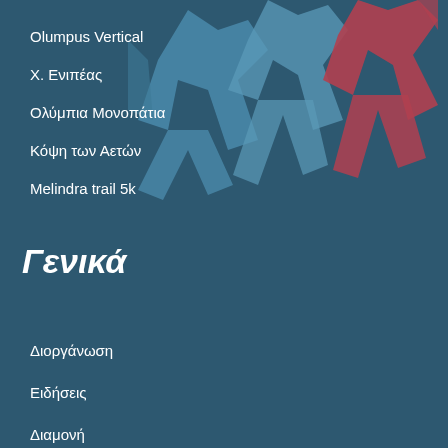[Figure (illustration): Abstract geometric illustration of running athletes in blue and red tones, positioned in the top-right area of the page]
Olumpus Vertical
Χ. Ενιπέας
Ολύμπια Μονοπάτια
Κόψη των Αετών
Melindra trail 5k
Γενικά
Διοργάνωση
Ειδήσεις
Διαμονή
Ρεκόρ